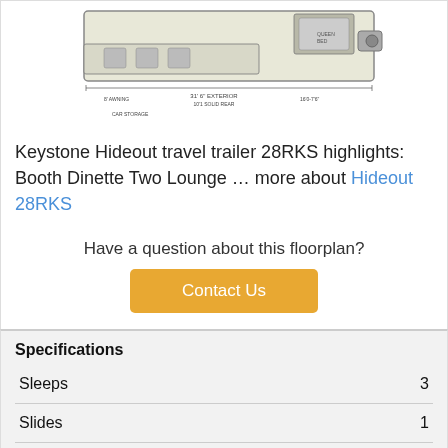[Figure (schematic): Keystone Hideout 28RKS travel trailer floorplan diagram showing top-down view with rooms, furniture, and dimensions labeled.]
Keystone Hideout travel trailer 28RKS highlights: Booth Dinette Two Lounge … more about Hideout 28RKS
Have a question about this floorplan?
Contact Us
Specifications
|  |  |
| --- | --- |
| Sleeps | 3 |
| Slides | 1 |
| Length | 32 ft 11 in |